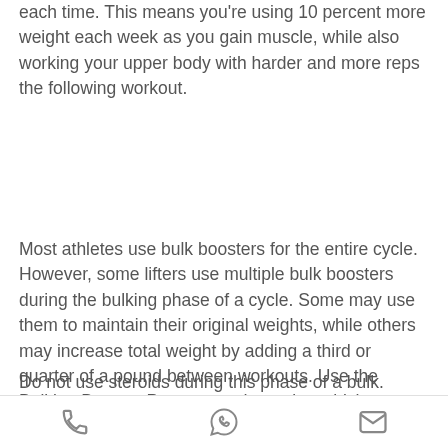each time. This means you're using 10 percent more weight each week as you gain muscle, while also working your upper body with harder and more reps the following workout.
Most athletes use bulk boosters for the entire cycle. However, some lifters use multiple bulk boosters during the bulking phase of a cycle. Some may use them to maintain their original weights, while others may increase total weight by adding a third or quarter of a pound between workouts. Use the Bulking Booster Program to determine which strategy to follow.
Do not use steroids during this phase of a bulk. Steroids can worsen a bulking phase and cause weight gain or even make it more difficult to add more weight to each phase.